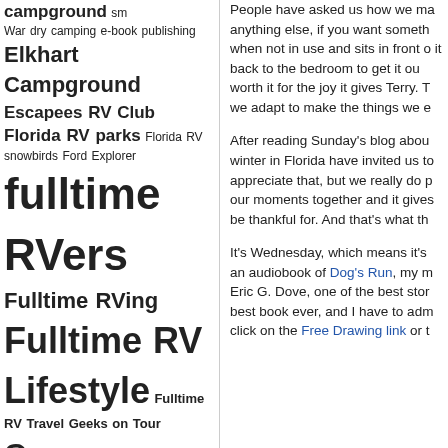campground (tag) War dry camping e-book publishing Elkhart Campground Escapees RV Club Florida RV parks Florida RV snowbirds Ford Explorer fulltime RVers Fulltime RVing Fulltime RV Lifestyle Fulltime RV Travel Geeks on Tour Gypsy Journal Gypsy Journal Rally Gypsy Journal RV Travel Newspaper John Lee Quarrels mystery series MCI Bus Conversion motorhome RV RV Blog RV camping journal RV dump station RVers RV Lifestyle RV Park RV parks RV Rallies rv rally RV Repairs RV site RV
People have asked us how we ma anything else, if you want someth when not in use and sits in front o it back to the bedroom to get it ou worth it for the joy it gives Terry. T we adapt to make the things we e
After reading Sunday's blog abou winter in Florida have invited us to appreciate that, but we really do p our moments together and it gives be thankful for. And that's what th
It's Wednesday, which means it's an audiobook of Dog's Run, my m Eric G. Dove, one of the best stor best book ever, and I have to adm click on the Free Drawing link or t